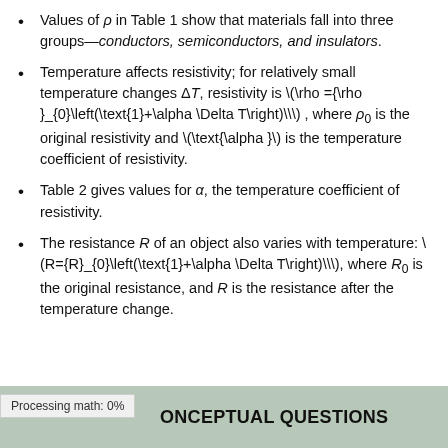Values of ρ in Table 1 show that materials fall into three groups—conductors, semiconductors, and insulators.
Temperature affects resistivity; for relatively small temperature changes ΔT, resistivity is \(\rho ={\rho }_{0}\left(\text{1}+\alpha \Delta T\right)\\) , where ρ₀ is the original resistivity and \(\text{\alpha }\) is the temperature coefficient of resistivity.
Table 2 gives values for α, the temperature coefficient of resistivity.
The resistance R of an object also varies with temperature: \(R={R}_{0}\left(\text{1}+\alpha \Delta T\right)\\), where R₀ is the original resistance, and R is the resistance after the temperature change.
CONCEPTUAL QUESTIONS